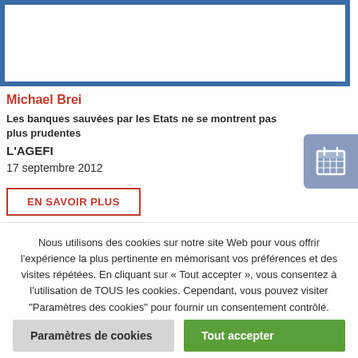[Figure (other): White rectangle with thick blue border, representing an image or media placeholder]
Michael Brei
Les banques sauvées par les Etats ne se montrent pas plus prudentes
L'AGEFI
17 septembre 2012
EN SAVOIR PLUS
[Figure (illustration): Calendar icon in white on a blue-grey rounded rectangle button]
Nous utilisons des cookies sur notre site Web pour vous offrir l'expérience la plus pertinente en mémorisant vos préférences et des visites répétées. En cliquant sur « Tout accepter », vous consentez à l'utilisation de TOUS les cookies. Cependant, vous pouvez visiter "Paramètres des cookies" pour fournir un consentement contrôlé.
Paramètres de cookies
Tout accepter